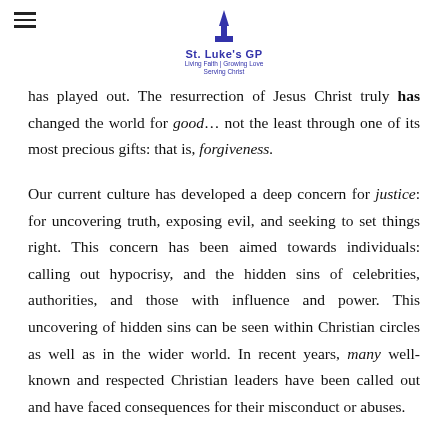St. Luke's GP — Living Faith | Growing Love | Serving Christ
has played out. The resurrection of Jesus Christ truly has changed the world for good… not the least through one of its most precious gifts: that is, forgiveness.
Our current culture has developed a deep concern for justice: for uncovering truth, exposing evil, and seeking to set things right. This concern has been aimed towards individuals: calling out hypocrisy, and the hidden sins of celebrities, authorities, and those with influence and power. This uncovering of hidden sins can be seen within Christian circles as well as in the wider world. In recent years, many well-known and respected Christian leaders have been called out and have faced consequences for their misconduct or abuses.